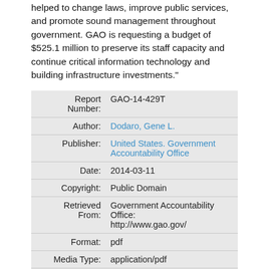helped to change laws, improve public services, and promote sound management throughout government. GAO is requesting a budget of $525.1 million to preserve its staff capacity and continue critical information technology and building infrastructure investments."
| Field | Value |
| --- | --- |
| Report Number: | GAO-14-429T |
| Author: | Dodaro, Gene L. |
| Publisher: | United States. Government Accountability Office |
| Date: | 2014-03-11 |
| Copyright: | Public Domain |
| Retrieved From: | Government Accountability Office: http://www.gao.gov/ |
| Format: | pdf |
| Media Type: | application/pdf |
| URL: | https://www.hsdl.org/?view&did=750692 |